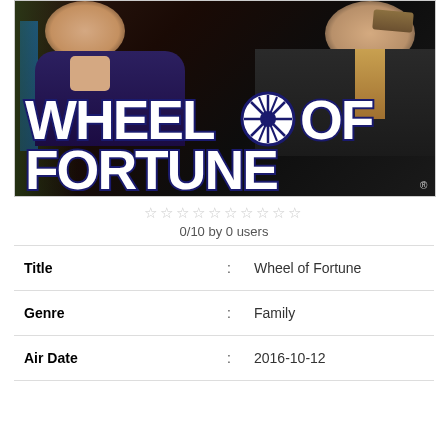[Figure (photo): Wheel of Fortune TV show promotional image showing two hosts (woman in dark dress and man in suit with tie) against a dark background with the large white 'WHEEL OF FORTUNE' logo text overlaid in bold block letters with dark blue shadow/outline]
0/10 by 0 users
| Title | : | Wheel of Fortune |
| Genre | : | Family |
| Air Date | : | 2016-10-12 |